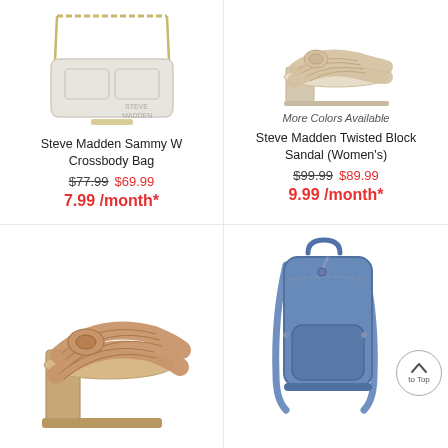[Figure (photo): White Steve Madden Sammy W Crossbody Bag with gold chain strap]
Steve Madden Sammy W Crossbody Bag
$77.99 $69.99
7.99 /month*
[Figure (photo): Beige/cream Steve Madden Twisted Block Sandal high heel mule shoes]
More Colors Available
Steve Madden Twisted Block Sandal (Women's)
$99.99 $89.99
9.99 /month*
[Figure (photo): Tan/nude Steve Madden woven twisted block heel sandal mule shoes]
[Figure (photo): Blue Steve Madden backpack bag with back-to-top scroll button overlay]